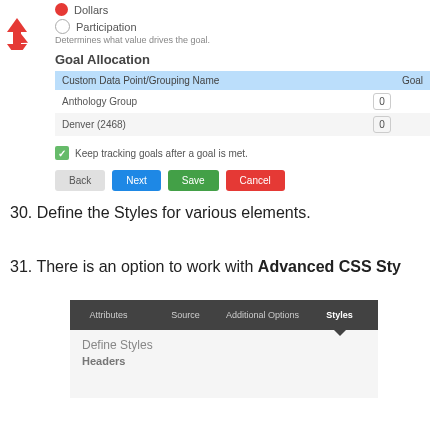[Figure (screenshot): UI screenshot showing radio buttons for Dollars and Participation, a Goal Allocation table with Custom Data Point/Grouping Name and Goal columns, rows for Anthology Group (0) and Denver (2468) (0), a checkbox for 'Keep tracking goals after a goal is met', and Back/Next/Save/Cancel buttons. A red arrow points to the table header.]
30. Define the Styles for various elements.
31. There is an option to work with Advanced CSS Styles
[Figure (screenshot): UI screenshot showing a tab bar with Attributes, Source, Additional Options, and Styles tabs (Styles active with dropdown arrow), and a Define Styles panel below with 'Define Styles' heading and 'Headers' subheading.]